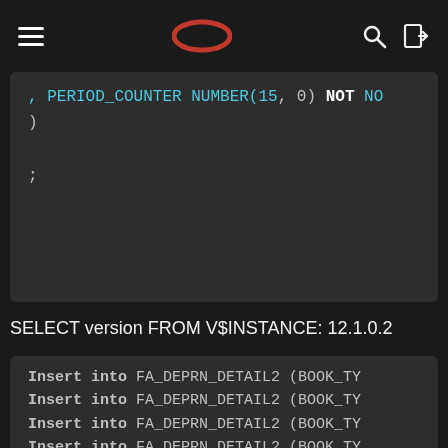Oracle navigation bar with hamburger menu, Oracle logo, search and login icons
[Figure (screenshot): Partial code block showing SQL DDL: , PERIOD_COUNTER NUMBER(15, 0) NOT NO
)
;]
SELECT version FROM V$INSTANCE: 12.1.0.2
[Figure (screenshot): Code block showing repeated lines: Insert into FA_DEPRN_DETAIL2 (BOOK_TY (truncated, 9 lines visible)]